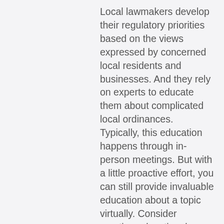Local lawmakers develop their regulatory priorities based on the views expressed by concerned local residents and businesses. And they rely on experts to educate them about complicated local ordinances. Typically, this education happens through in-person meetings. But with a little proactive effort, you can still provide invaluable education about a topic virtually. Consider creating educational assets that local policymakers can watch, listen to, or read on their own time.
One of the biggest challenges local